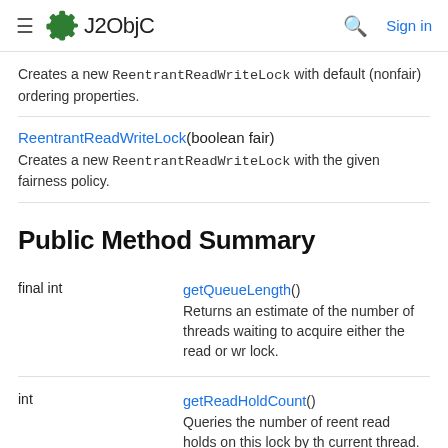J2ObjC
Creates a new ReentrantReadWriteLock with default (nonfair) ordering properties.
ReentrantReadWriteLock(boolean fair)
Creates a new ReentrantReadWriteLock with the given fairness policy.
Public Method Summary
|  |  |
| --- | --- |
| final int | getQueueLength()
Returns an estimate of the number of threads waiting to acquire either the read or write lock. |
| int | getReadHoldCount()
Queries the number of reentrant read holds on this lock by the current thread. |